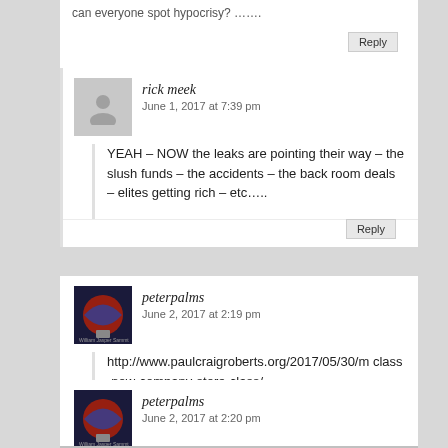Reply
rick meek
June 1, 2017 at 7:39 pm
YEAH – NOW the leaks are pointing their way – the slush funds – the accidents – the back room deals – elites getting rich – etc…..
Reply
peterpalms
June 2, 2017 at 2:19 pm
http://www.paulcraigroberts.org/2017/05/30/m class-now-company-store-class/
Reply
peterpalms
June 2, 2017 at 2:20 pm